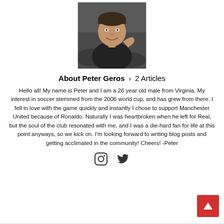[Figure (photo): Profile photo of Peter Geros, a young man smiling, seated, wearing dark clothing]
About Peter Geros  >  2 Articles
Hello all! My name is Peter and I am a 26 year old male from Virginia. My interest in soccer stemmed from the 2006 world cup, and has grew from there. I fell in love with the game quickly and instantly I chose to support Manchester United because of Ronaldo. Naturally I was heartbroken when he left for Real, but the soul of the club resonated with me, and I was a die-hard fan for life at this point anyways, so we kick on. I'm looking forward to writing blog posts and getting acclimated in the community! Cheers! -Peter
[Figure (illustration): Social media icons: Instagram and Twitter]